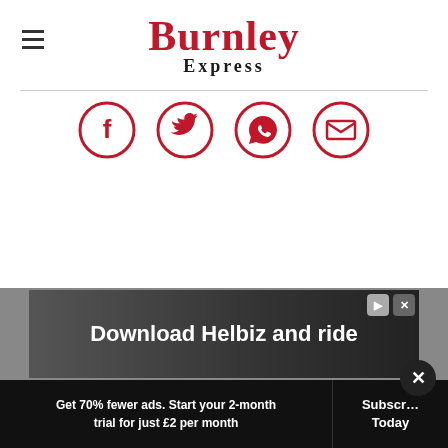Burnley Express
[Figure (infographic): Social share icons row: Facebook, Twitter, WhatsApp, Email — all in crimson red circle outlines]
[Figure (infographic): Advertisement banner: 'Download Helbiz and ride' with dark background image of person with scooter]
Get 70% fewer ads. Start your 2-month trial for just £2 per month
Subscribe Today